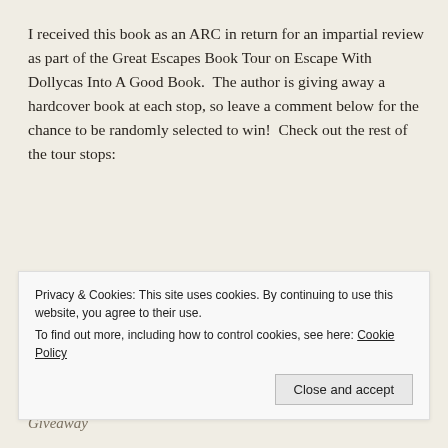I received this book as an ARC in return for an impartial review as part of the Great Escapes Book Tour on Escape With Dollycas Into A Good Book.  The author is giving away a hardcover book at each stop, so leave a comment below for the chance to be randomly selected to win!  Check out the rest of the tour stops:
May 6 – Melina's Book Blog – Review, Giveaway
May 7 – Our Wolves Den – Review, Giveaway
May 8 – Books-n-Kisses – Review, Interview
May 9 – Griperang's Bookmarks – Review
May 10 – rantin' ravin' and reading – Review, Interview, Giveaway
Privacy & Cookies: This site uses cookies. By continuing to use this website, you agree to their use.
To find out more, including how to control cookies, see here: Cookie Policy